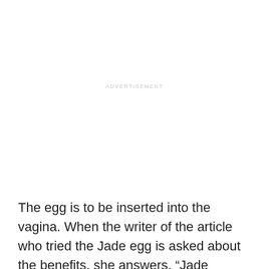ADVERTISEMENT
The egg is to be inserted into the vagina. When the writer of the article who tried the Jade egg is asked about the benefits, she answers, “Jade